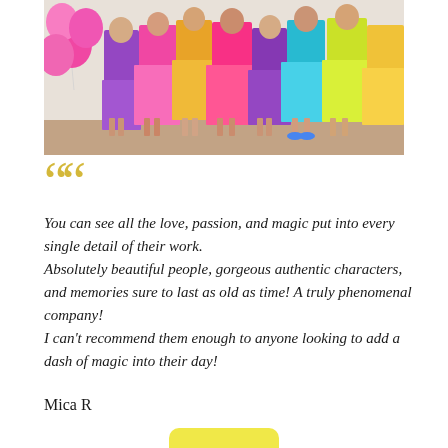[Figure (photo): Group of children in colorful princess costumes (pink, purple, yellow, teal, green) standing together with pink balloons visible on the left side, wooden floor visible at the bottom]
““
You can see all the love, passion, and magic put into every single detail of their work. Absolutely beautiful people, gorgeous authentic characters, and memories sure to last as old as time! A truly phenomenal company! I can’t recommend them enough to anyone looking to add a dash of magic into their day!
Mica R